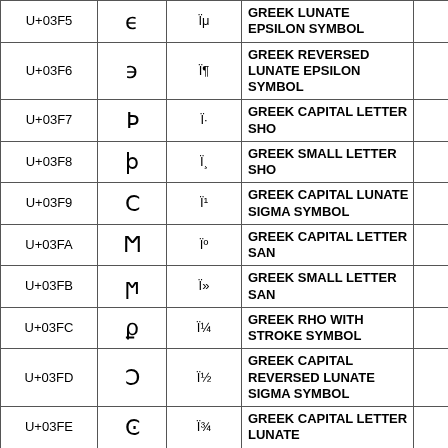| Code | Glyph | Bytes | Name |  |
| --- | --- | --- | --- | --- |
| U+03F5 | ϵ | Ïμ | GREEK LUNATE EPSILON SYMBOL |  |
| U+03F6 | ϶ | Ï¶ | GREEK REVERSED LUNATE EPSILON SYMBOL |  |
| U+03F7 | Ƿ | Ï· | GREEK CAPITAL LETTER SHO |  |
| U+03F8 | ƿ | Ï¸ | GREEK SMALL LETTER SHO |  |
| U+03F9 | Ϲ | Ï¹ | GREEK CAPITAL LUNATE SIGMA SYMBOL |  |
| U+03FA | Ϻ | Ïº | GREEK CAPITAL LETTER SAN |  |
| U+03FB | ϻ | Ï» | GREEK SMALL LETTER SAN |  |
| U+03FC | ϼ | Ï¼ | GREEK RHO WITH STROKE SYMBOL |  |
| U+03FD | Ͻ | Ï½ | GREEK CAPITAL REVERSED LUNATE SIGMA SYMBOL |  |
| U+03FE | Ͼ | Ï¾ | GREEK CAPITAL LETTER LUNATE |  |